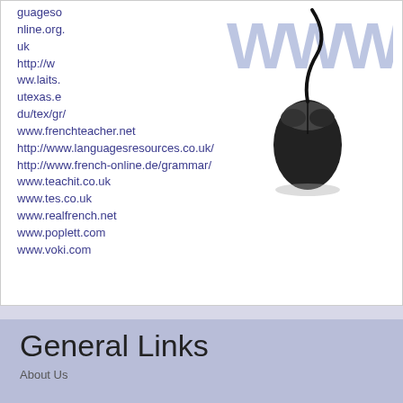guageso
nline.org.
uk
http://w
ww.laits.
utexas.e
du/tex/gr/
www.frenchteacher.net
http://www.languagesresources.co.uk/
http://www.french-online.de/grammar/
www.teachit.co.uk
www.tes.co.uk
www.realfrench.net
www.poplett.com
www.voki.com
[Figure (illustration): Computer mouse with cord on white background with large blue WWW text watermark]
General Links
About Us